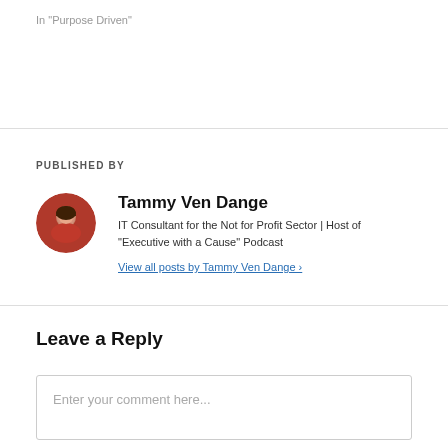In "Purpose Driven"
PUBLISHED BY
[Figure (photo): Circular avatar photo of Tammy Ven Dange, a woman wearing a red top]
Tammy Ven Dange
IT Consultant for the Not for Profit Sector | Host of "Executive with a Cause" Podcast
View all posts by Tammy Ven Dange ›
Leave a Reply
Enter your comment here...